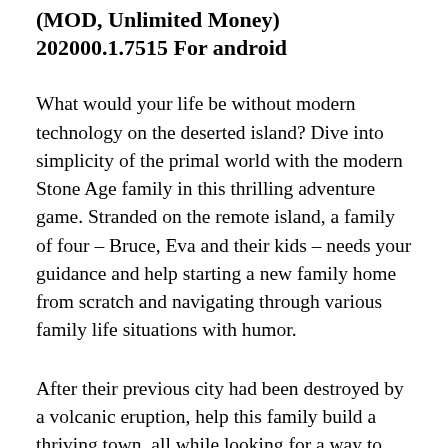(MOD, Unlimited Money) 202000.1.7515 For android
What would your life be without modern technology on the deserted island? Dive into simplicity of the primal world with the modern Stone Age family in this thrilling adventure game. Stranded on the remote island, a family of four – Bruce, Eva and their kids – needs your guidance and help starting a new family home from scratch and navigating through various family life situations with humor.
After their previous city had been destroyed by a volcanic eruption, help this family build a thriving town, all while looking for a way to